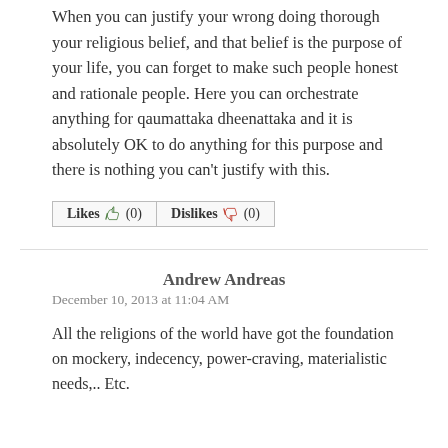When you can justify your wrong doing thorough your religious belief, and that belief is the purpose of your life, you can forget to make such people honest and rationale people. Here you can orchestrate anything for qaumattaka dheenattaka and it is absolutely OK to do anything for this purpose and there is nothing you can't justify with this.
Likes (0)  Dislikes (0)
Andrew Andreas
December 10, 2013 at 11:04 AM
All the religions of the world have got the foundation on mockery, indecency, power-craving, materialistic needs,.. Etc.